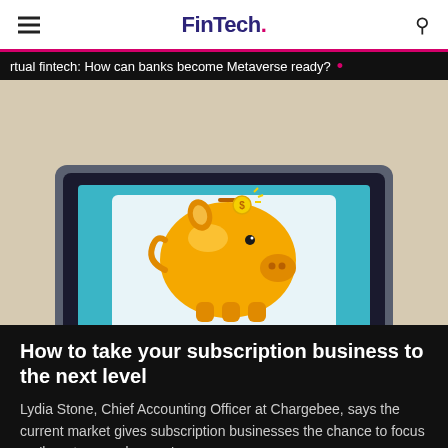FinTech.
rtual fintech: How can banks become Metaverse ready?
[Figure (illustration): Illustration of a laptop computer displaying a golden piggy bank on its screen, with a beige/tan background. The laptop is shown in a front-facing perspective with a dark frame and stand.]
How to take your subscription business to the next level
Lydia Stone, Chief Accounting Officer at Chargebee, says the current market gives subscription businesses the chance to focus on 'long-term endurance'.